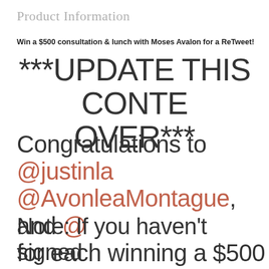Product Information
Win a $500 consultation & lunch with Moses Avalon for a ReTweet!
***UPDATE THIS CONTEST IS OVER***
Congratulations to @justinla, @AvonleaMontague, and @... for each winning a $500 m... consultation!
Note: If you haven't signed... mailing list (in the right sideb... a good time... this is where... these type of contests giv...